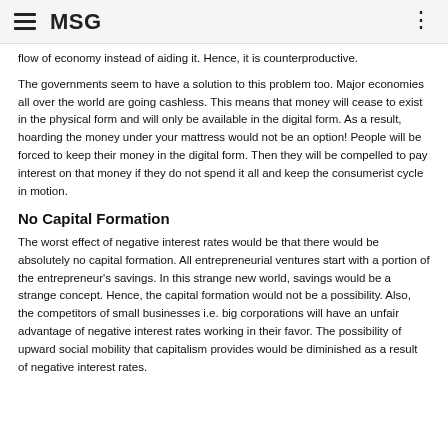MSG
flow of economy instead of aiding it. Hence, it is counterproductive.
The governments seem to have a solution to this problem too. Major economies all over the world are going cashless. This means that money will cease to exist in the physical form and will only be available in the digital form. As a result, hoarding the money under your mattress would not be an option! People will be forced to keep their money in the digital form. Then they will be compelled to pay interest on that money if they do not spend it all and keep the consumerist cycle in motion.
No Capital Formation
The worst effect of negative interest rates would be that there would be absolutely no capital formation. All entrepreneurial ventures start with a portion of the entrepreneur's savings. In this strange new world, savings would be a strange concept. Hence, the capital formation would not be a possibility. Also, the competitors of small businesses i.e. big corporations will have an unfair advantage of negative interest rates working in their favor. The possibility of upward social mobility that capitalism provides would be diminished as a result of negative interest rates.